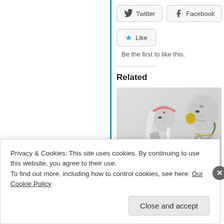Twitter | Facebook (social share buttons)
Like
Be the first to like this.
Related
[Figure (illustration): Hindu religious illustration showing a woman (Parvati) offering something to Lord Shiva from a vessel, with a snake around a shiva lingam]
Privacy & Cookies: This site uses cookies. By continuing to use this website, you agree to their use.
To find out more, including how to control cookies, see here: Our Cookie Policy
Close and accept